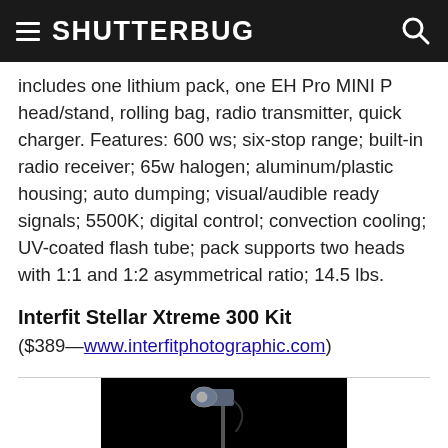SHUTTERBUG
includes one lithium pack, one EH Pro MINI P head/stand, rolling bag, radio transmitter, quick charger. Features: 600 ws; six-stop range; built-in radio receiver; 65w halogen; aluminum/plastic housing; auto dumping; visual/audible ready signals; 5500K; digital control; convection cooling; UV-coated flash tube; pack supports two heads with 1:1 and 1:2 asymmetrical ratio; 14.5 lbs.
Interfit Stellar Xtreme 300 Kit
($389—www.interfitphotographic.com)
[Figure (photo): Studio flash/strobe light mounted on a light stand, shown against a black background. The flash unit has a reflector dish attached.]